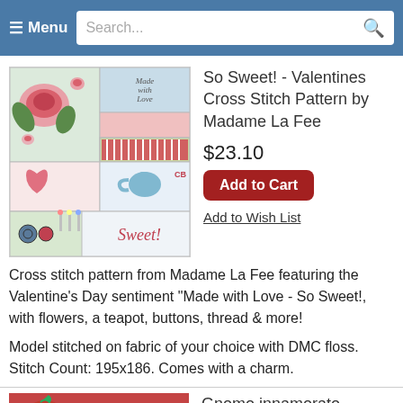≡ Menu  Search...
[Figure (photo): Cross stitch sampler pattern preview showing roses, teapot, hearts, buttons and text 'Made with Love - So Sweet!']
So Sweet! - Valentines Cross Stitch Pattern by Madame La Fee
$23.10
Add to Cart
Add to Wish List
Cross stitch pattern from Madame La Fee featuring the Valentine's Day sentiment "Made with Love - So Sweet!, with flowers, a teapot, buttons, thread & more!
Model stitched on fabric of your choice with DMC floss. Stitch Count: 195x186. Comes with a charm.
[Figure (photo): Gnomo innamorato cross stitch pattern thumbnail showing tomatoes and craft materials]
Gnomo innamorato Cross Stitch Pattern